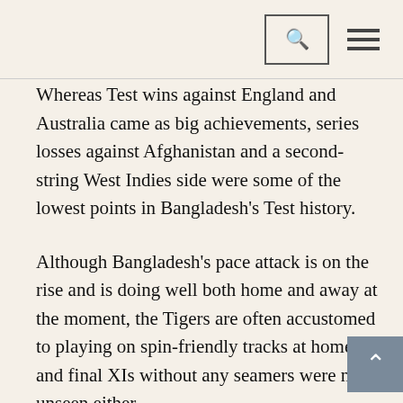Search and menu icons
Whereas Test wins against England and Australia came as big achievements, series losses against Afghanistan and a second-string West Indies side were some of the lowest points in Bangladesh's Test history.
Although Bangladesh's pace attack is on the rise and is doing well both home and away at the moment, the Tigers are often accustomed to playing on spin-friendly tracks at home and final XIs without any seamers were not unseen either.
When it comes to playing Tests against sides like England or Australia, spin-friendly tracks might just be the way forward for Bangladesh at home, given the fact that teams like England and Australia do possess a more experienced seam